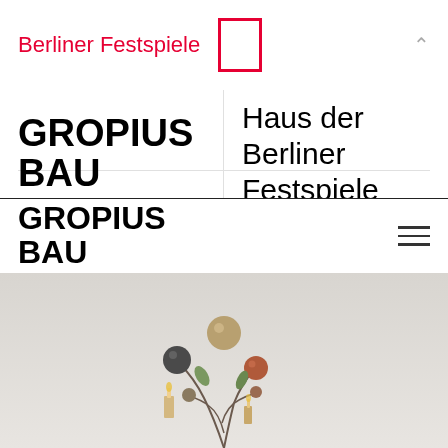Berliner Festspiele
GROPIUS BAU
Haus der Berliner Festspiele
Bundeswettbewerbe
JAZZFEST BERLIN
Maerz Musik
MUSIKFEST BERLIN
GROPIUS BAU
[Figure (illustration): Decorative ornamental illustration with spheres, candles, and botanical elements on a grey background]